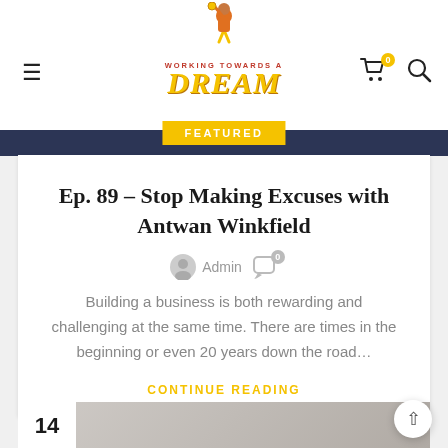[Figure (logo): Working Towards a Dream logo with cartoon figure holding a trophy above their head, red and yellow branding]
FEATURED
Ep. 89 – Stop Making Excuses with Antwan Winkfield
Admin  0
Building a business is both rewarding and challenging at the same time. There are times in the beginning or even 20 years down the road…
CONTINUE READING
[Figure (photo): Partial view of a thumbnail for the next article with date number 14 visible]
14